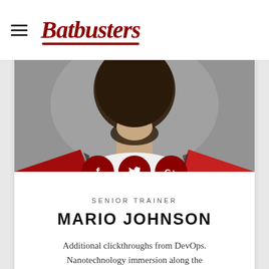Batbusters
[Figure (photo): Photo of a bearded man wearing a red and black plaid jacket over a white shirt, shot from slightly below showing his neck and lower face with beard]
SENIOR TRAINER
MARIO JOHNSON
Additional clickthroughs from DevOps. Nanotechnology immersion along the information highway.